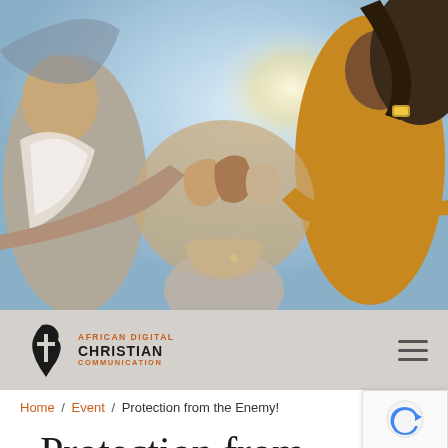[Figure (photo): Upward-looking view of a diverse group of people holding hands in a circle, with a bright sky background. Community/unity theme.]
[Figure (logo): African Digital Christian Communication logo — Africa continent shape with a cross, next to text reading AFRICAN DIGITAL CHRISTIAN COMMUNICATION]
Home / Event / Protection from the Enemy!
Protection from the Enemy!